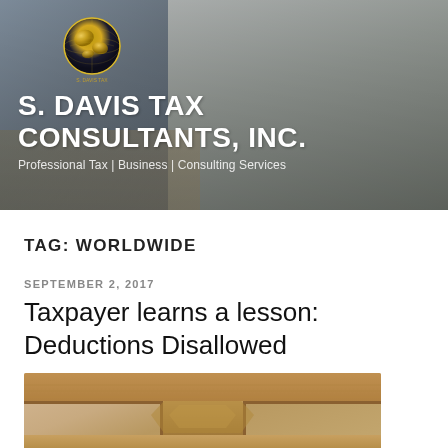[Figure (photo): Hero banner showing a woman working at a desk in an office, on the phone, with S. Davis Tax Consultants logo overlay. Background shows office equipment including a printer. Globe logo in upper left of banner.]
S. DAVIS TAX CONSULTANTS, INC.
Professional Tax | Business | Consulting Services
TAG: WORLDWIDE
SEPTEMBER 2, 2017
Taxpayer learns a lesson: Deductions Disallowed
[Figure (photo): Photograph of a wooden mantelpiece or ornate wooden trim, shown from below looking up, with cream/beige wall in background.]